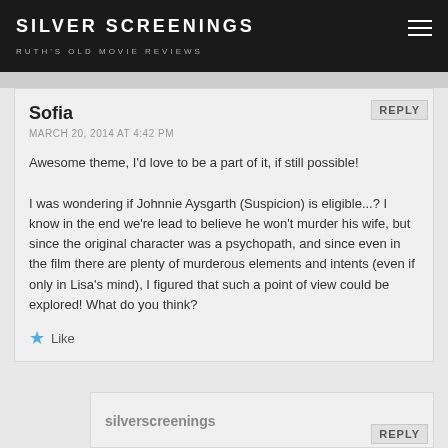SILVER SCREENINGS
RUTH'S OLD MOVIE REVIEWS
Sofia
MARCH 20, 2014 AT 4:42 PM
Awesome theme, I'd love to be a part of it, if still possible!

I was wondering if Johnnie Aysgarth (Suspicion) is eligible...? I know in the end we're lead to believe he won't murder his wife, but since the original character was a psychopath, and since even in the film there are plenty of murderous elements and intents (even if only in Lisa's mind), I figured that such a point of view could be explored! What do you think?
Like
silverscreenings